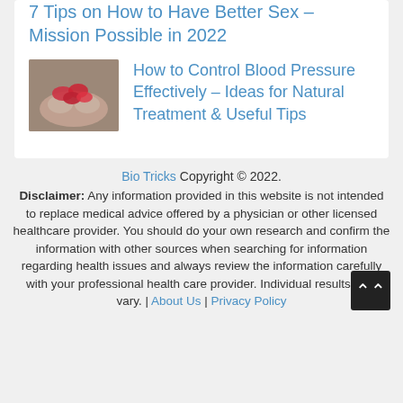7 Tips on How to Have Better Sex – Mission Possible in 2022
[Figure (photo): Hands holding red heart-shaped objects, representing blood pressure / heart health topic]
How to Control Blood Pressure Effectively – Ideas for Natural Treatment & Useful Tips
Bio Tricks Copyright © 2022. Disclaimer: Any information provided in this website is not intended to replace medical advice offered by a physician or other licensed healthcare provider. You should do your own research and confirm the information with other sources when searching for information regarding health issues and always review the information carefully with your professional health care provider. Individual results may vary. | About Us | Privacy Policy